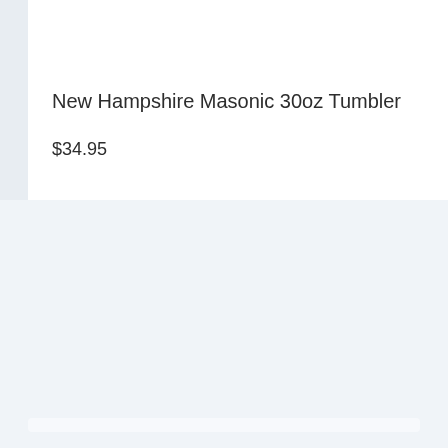New Hampshire Masonic 30oz Tumbler
$34.95